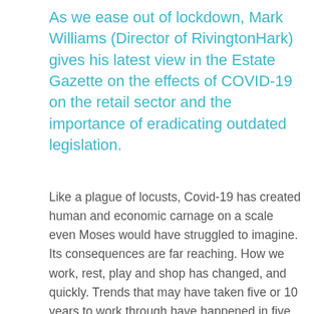As we ease out of lockdown, Mark Williams (Director of RivingtonHark) gives his latest view in the Estate Gazette on the effects of COVID-19 on the retail sector and the importance of eradicating outdated legislation.
Like a plague of locusts, Covid-19 has created human and economic carnage on a scale even Moses would have struggled to imagine. Its consequences are far reaching. How we work, rest, play and shop has changed, and quickly. Trends that may have taken five or 10 years to work through have happened in five months. For perfectly sensible and obvious reasons, real estate is not a sector best known for its ability to adapt quickly. Both owners and occupiers are struggling to understand what this